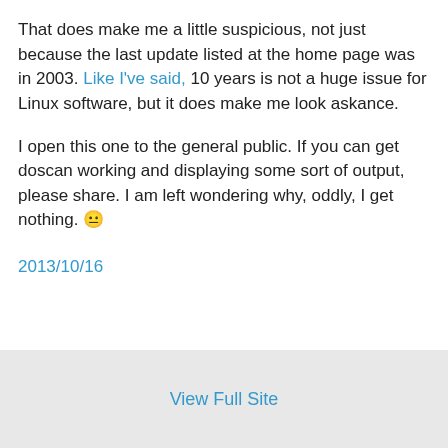That does make me a little suspicious, not just because the last update listed at the home page was in 2003. Like I've said, 10 years is not a huge issue for Linux software, but it does make me look askance.
I open this one to the general public. If you can get doscan working and displaying some sort of output, please share. I am left wondering why, oddly, I get nothing. 😐
2013/10/16
View Full Site